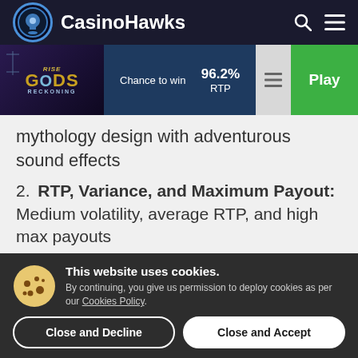CasinoHawks
[Figure (screenshot): Rise of Gods Reckoning game thumbnail with 96.2% RTP and Play button]
mythology design with adventurous sound effects
2. RTP, Variance, and Maximum Payout: Medium volatility, average RTP, and high max payouts
3. Base Game and Bonus Features:
This website uses cookies. By continuing, you give us permission to deploy cookies as per our Cookies Policy.
Close and Decline
Close and Accept